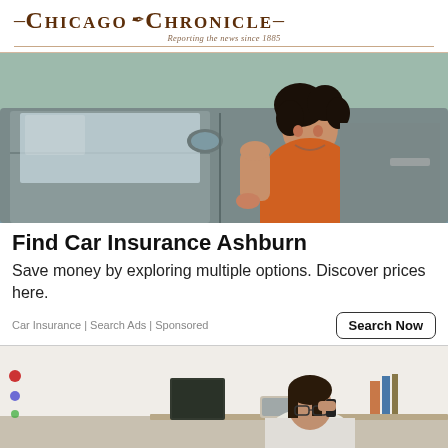Chicago Chronicle — Reporting the news since 1885
[Figure (photo): Woman with curly hair wearing orange turtleneck sweater, leaning out of a car window and smiling]
Find Car Insurance Ashburn
Save money by exploring multiple options. Discover prices here.
Car Insurance | Search Ads | Sponsored
[Figure (photo): Woman with dark hair and glasses sitting at a desk talking on the phone, working from home environment]